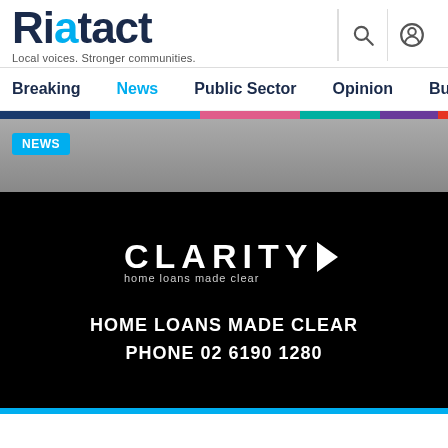[Figure (logo): Riotact logo with tagline 'Local voices. Stronger communities.']
Breaking  News  Public Sector  Opinion  Business  R
[Figure (photo): News hero banner with blurred background of indoor plants; NEWS badge in cyan]
[Figure (logo): Clarity home loans made clear logo and advertisement on black background with text: HOME LOANS MADE CLEAR PHONE 02 6190 1280]